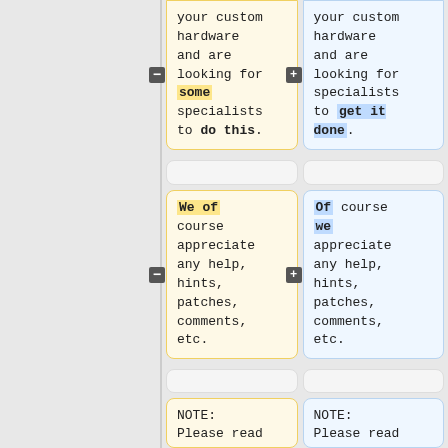your custom hardware and are looking for some specialists to do this.
your custom hardware and are looking for specialists to get it done.
We of course appreciate any help, hints, patches, comments, etc.
Of course we appreciate any help, hints, patches, comments, etc.
NOTE: Please read
NOTE: Please read